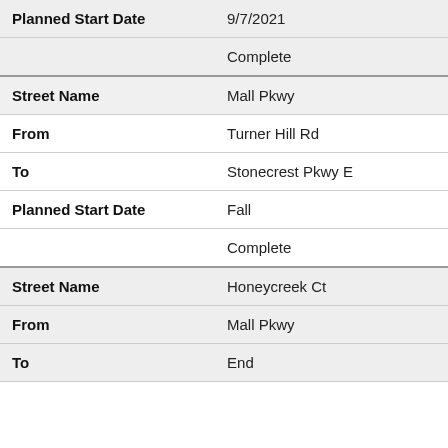| Field | Value |
| --- | --- |
| Planned Start Date | 9/7/2021 |
|  | Complete |
| Street Name | Mall Pkwy |
| From | Turner Hill Rd |
| To | Stonecrest Pkwy E |
| Planned Start Date | Fall |
|  | Complete |
| Street Name | Honeycreek Ct |
| From | Mall Pkwy |
| To | End |